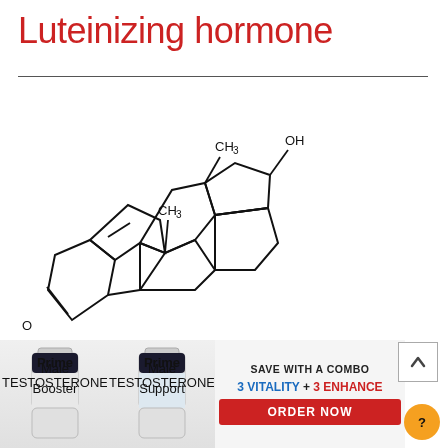Luteinizing hormone
[Figure (schematic): Steroid hormone skeletal structural formula (testosterone-like) showing fused ring system with CH3 groups, OH group, and ketone (C=O) group with oxygen label.]
On
Ma
[Figure (photo): Two supplement bottles labeled Prime Male Vitality and Prime Male EDGE]
SAVE WITH A COMBO
3 VITALITY + 3 ENHANCE
ORDER NOW